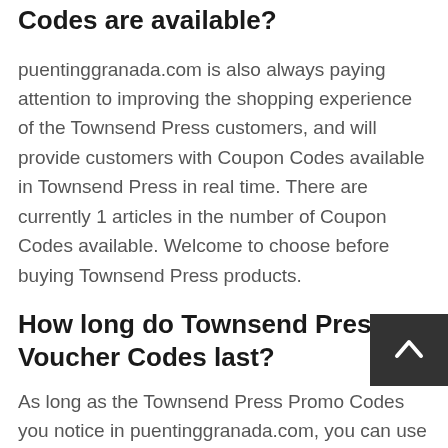How many Townsend Press online Voucher Codes are available?
puentinggranada.com is also always paying attention to improving the shopping experience of the Townsend Press customers, and will provide customers with Coupon Codes available in Townsend Press in real time. There are currently 1 articles in the number of Coupon Codes available. Welcome to choose before buying Townsend Press products.
How long do Townsend Press Voucher Codes last?
As long as the Townsend Press Promo Codes you notice in puentinggranada.com, you can use them. Once these Townsend Press Promo Codes are displayed, they must be within the validity period and will not expire for the time being. Just don't worry! Go to the puentinggranada.com and get the Townsend Press Coupon Codes to save 30%...